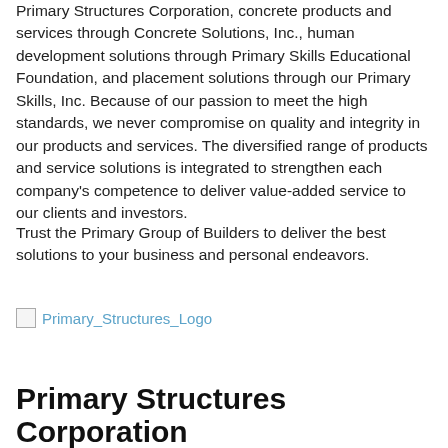Primary Structures Corporation, concrete products and services through Concrete Solutions, Inc., human development solutions through Primary Skills Educational Foundation, and placement solutions through our Primary Skills, Inc. Because of our passion to meet the high standards, we never compromise on quality and integrity in our products and services. The diversified range of products and service solutions is integrated to strengthen each company's competence to deliver value-added service to our clients and investors.
Trust the Primary Group of Builders to deliver the best solutions to your business and personal endeavors.
[Figure (logo): Primary Structures Logo image placeholder]
Primary Structures Corporation